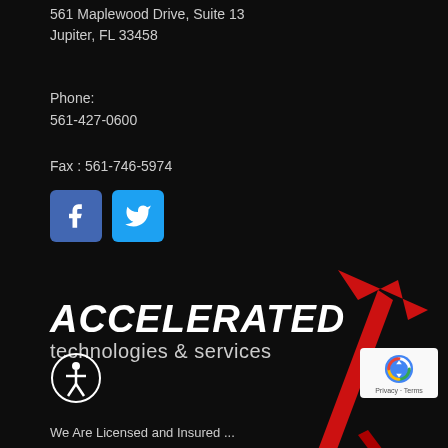561 Maplewood Drive, Suite 13
Jupiter, FL 33458
Phone:
561-427-0600
Fax : 561-746-5974
[Figure (logo): Facebook and Twitter social media icon buttons]
[Figure (logo): Accelerated technologies & services company logo with red arrow graphic]
[Figure (logo): Accessibility icon (person in circle) and reCAPTCHA badge]
We Are Licensed and Insured ...